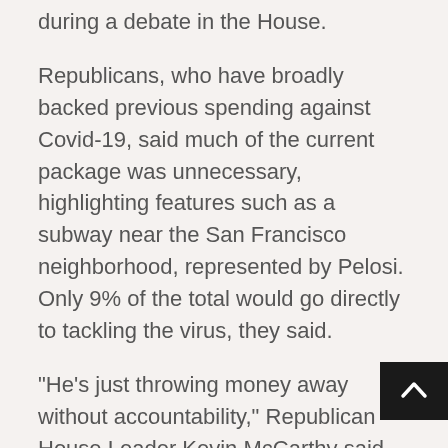during a debate in the House.
Republicans, who have broadly backed previous spending against Covid-19, said much of the current package was unnecessary, highlighting features such as a subway near the San Francisco neighborhood, represented by Pelosi. Only 9% of the total would go directly to tackling the virus, they said.
“He’s just throwing money away without accountability,” Republican House Leader Kevin McCarthy said.
The House vote was a successful first test for Democrats, who hold a narrow majority of 221 to 211 in the House. The party’s progressives and moderates, often at odds, will have to face tougher battles before the immigration and climate change initiatives Bid… wants to promote.